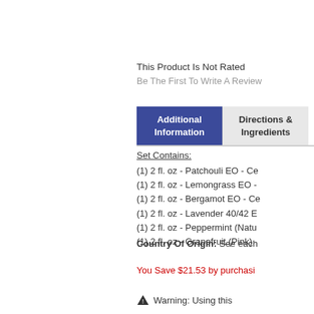This Product Is Not Rated
Be The First To Write A Review
Additional Information | Directions & Ingredients
Set Contains:
(1) 2 fl. oz - Patchouli EO - Ce
(1) 2 fl. oz - Lemongrass EO -
(1) 2 fl. oz - Bergamot EO - Ce
(1) 2 fl. oz - Lavender 40/42 E
(1) 2 fl. oz - Peppermint (Natu
(1) 2 fl. oz - Grapefruit (Pink)
Country Of Origin: See each
You Save $21.53 by purchasi
Warning: Using this